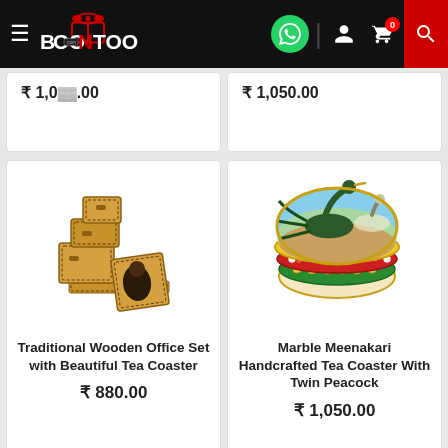[Figure (screenshot): Boontoon e-commerce website header with logo, hamburger menu, WhatsApp icon, user icon, cart icon with badge 0, and red search button]
₹ 1,050.00
₹ 1,050.00
[Figure (photo): Traditional Wooden Office Set with Beautiful Tea Coaster - wooden stacked box organizer with photo-printed coasters]
Traditional Wooden Office Set with Beautiful Tea Coaster
₹ 880.00
[Figure (photo): Marble Meenakari Handcrafted Tea Coaster With Twin Peacock - ornate marble box with peacock painting and colorful gem inlay border]
Marble Meenakari Handcrafted Tea Coaster With Twin Peacock
₹ 1,050.00